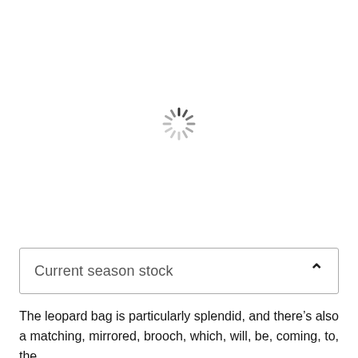[Figure (other): Loading spinner icon (circular dashed spinner indicating content is loading), centered in the upper portion of the page]
Current season stock
The leopard bag is particularly splendid, and there’s also a matching, mirrored, brooch, which, will, be, coming, to, the